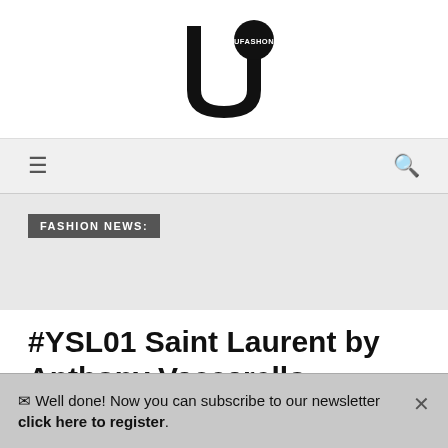[Figure (logo): UFASHON logo — a bold U-shape with a circle at top right containing the text UFASHON in white]
≡  🔍
FASHION NEWS:
#YSL01 Saint Laurent by Anthony Vaccarello
✉ Well done! Now you can subscribe to our newsletter click here to register.